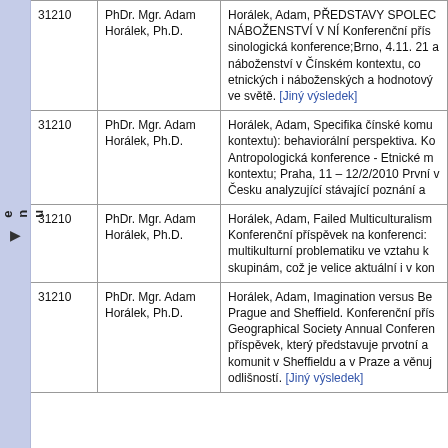| ID | Name | Description |
| --- | --- | --- |
| 31210 | PhDr. Mgr. Adam Horálek, Ph.D. | Horálek, Adam, PŘEDSTAVY SPOLEC NÁBOŽENSTVÍ V NÍ Konferenční přís sinologická konference;Brno, 4.11. 21 a náboženství v Čínském kontextu, co etnických i náboženských a hodnotový ve světě. [Jiný výsledek] |
| 31210 | PhDr. Mgr. Adam Horálek, Ph.D. | Horálek, Adam, Specifika čínské komu kontextu): behaviorální perspektiva. Ko Antropologická konference - Etnické m kontextu; Praha, 11 – 12/2/2010 První v Česku analyzující stávající poznání a |
| 31210 | PhDr. Mgr. Adam Horálek, Ph.D. | Horálek, Adam, Failed Multiculturalism Konferenční příspěvek na konferenci: multikulturní problematiku ve vztahu k skupinám, což je velice aktuální i v kon |
| 31210 | PhDr. Mgr. Adam Horálek, Ph.D. | Horálek, Adam, Imagination versus Be Prague and Sheffield. Konferenční přís Geographical Society Annual Conferen příspěvek, který představuje prvotní a komunit v Sheffieldu a v Praze a věnuj odlišností. [Jiný výsledek] |